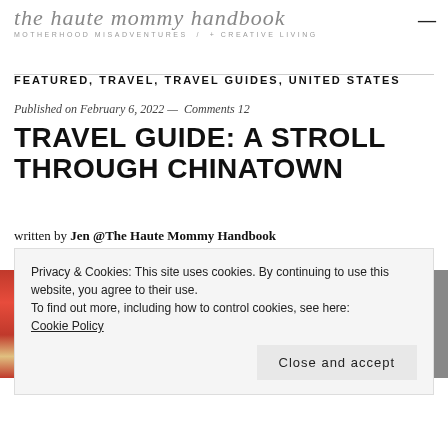the haute mommy handbook
MOTHERHOOD MISADVENTURES + CREATIVE LIVING
FEATURED, TRAVEL, TRAVEL GUIDES, UNITED STATES
Published on February 6, 2022 — Comments 12
TRAVEL GUIDE: A STROLL THROUGH CHINATOWN
written by Jen @The Haute Mommy Handbook
Privacy & Cookies: This site uses cookies. By continuing to use this website, you agree to their use.
To find out more, including how to control cookies, see here:
Cookie Policy
Close and accept